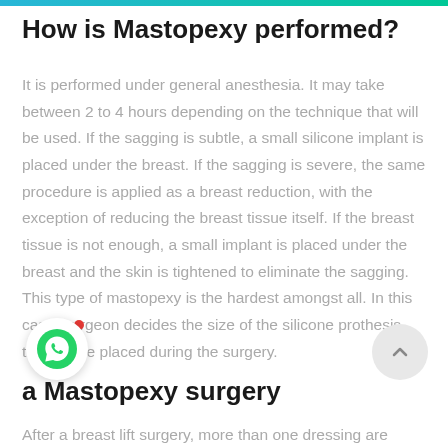How is Mastopexy performed?
It is performed under general anesthesia. It may take between 2 to 4 hours depending on the technique that will be used. If the sagging is subtle, a small silicone implant is placed under the breast. If the sagging is severe, the same procedure is applied as a breast reduction, with the exception of reducing the breast tissue itself. If the breast tissue is not enough, a small implant is placed under the breast and the skin is tightened to eliminate the sagging. This type of mastopexy is the hardest amongst all. In this case, surgeon decides the size of the silicone prothesis that will be placed during the surgery.
a Mastopexy surgery
After a breast lift surgery, more than one dressing are